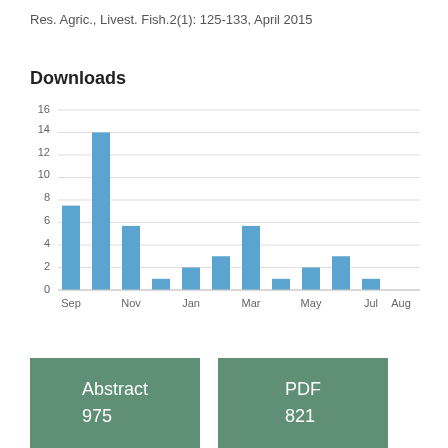Res. Agric., Livest. Fish.2(1): 125-133, April 2015
Downloads
[Figure (bar-chart): Downloads]
Abstract
975
PDF
821